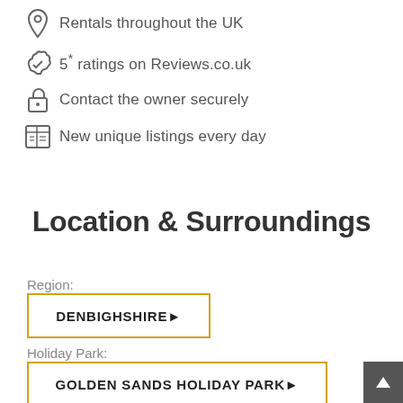Rentals throughout the UK
5* ratings on Reviews.co.uk
Contact the owner securely
New unique listings every day
Location & Surroundings
Region:
DENBIGHSHIRE ▶
Holiday Park:
GOLDEN SANDS HOLIDAY PARK ▶